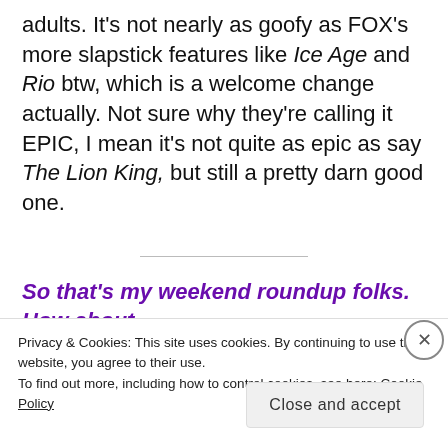adults. It's not nearly as goofy as FOX's more slapstick features like Ice Age and Rio btw, which is a welcome change actually. Not sure why they're calling it EPIC, I mean it's not quite as epic as say The Lion King, but still a pretty darn good one.
So that's my weekend roundup folks. How about
Privacy & Cookies: This site uses cookies. By continuing to use this website, you agree to their use. To find out more, including how to control cookies, see here: Cookie Policy
Close and accept